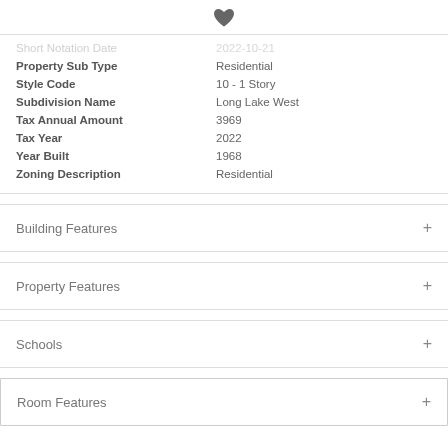[Figure (illustration): Dark heart/favorite icon]
| Field | Value |
| --- | --- |
| Short Notation Date (faded) | 2022-10-21 (faded) |
| Property Sub Type | Residential |
| Style Code | 10 - 1 Story |
| Subdivision Name | Long Lake West |
| Tax Annual Amount | 3969 |
| Tax Year | 2022 |
| Year Built | 1968 |
| Zoning Description | Residential |
Building Features
Property Features
Schools
Room Features